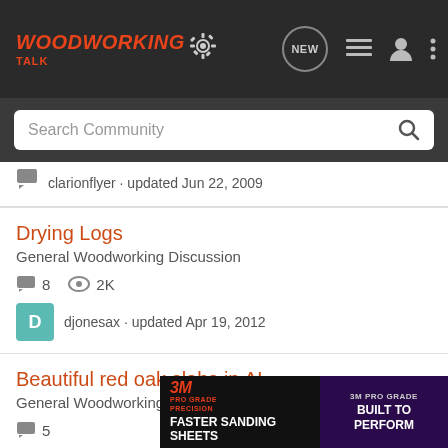Woodworking Talk
Search Community
clarionflyer · updated Jun 22, 2009
Drying Logs
General Woodworking Discussion
8  2K
djonesax · updated Apr 19, 2012
Beautiful red oak slabs in AL
General Woodworking Discussion
5
[Figure (infographic): 3M Pro Grade Precision advertisement banner: 'Faster Sanding Sheets' on left, 'Built To Perform' on right with purple product imagery]